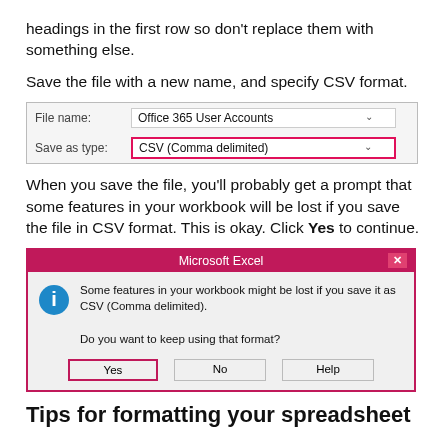headings in the first row so don't replace them with something else.
Save the file with a new name, and specify CSV format.
[Figure (screenshot): Windows Save dialog showing File name: Office 365 User Accounts and Save as type: CSV (Comma delimited) highlighted in pink border]
When you save the file, you'll probably get a prompt that some features in your workbook will be lost if you save the file in CSV format. This is okay. Click Yes to continue.
[Figure (screenshot): Microsoft Excel dialog box with pink title bar saying 'Microsoft Excel', info icon, message about features being lost if saved as CSV, and Yes/No/Help buttons with Yes highlighted in pink border]
Tips for formatting your spreadsheet